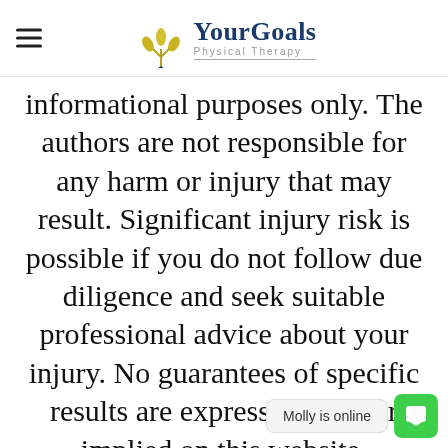Your Goals Physical Therapy
informational purposes only. The authors are not responsible for any harm or injury that may result. Significant injury risk is possible if you do not follow due diligence and seek suitable professional advice about your injury. No guarantees of specific results are expressly made or implied on this website.
Molly is online